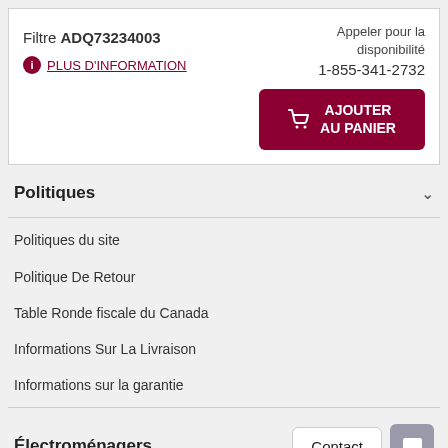Filtre ADQ73234003
ⓘ PLUS D'INFORMATION
Appeler pour la disponibilité
1-855-341-2732
AJOUTER AU PANIER
Politiques
Politiques du site
Politique De Retour
Table Ronde fiscale du Canada
Informations Sur La Livraison
Informations sur la garantie
Électroménagers
Contact